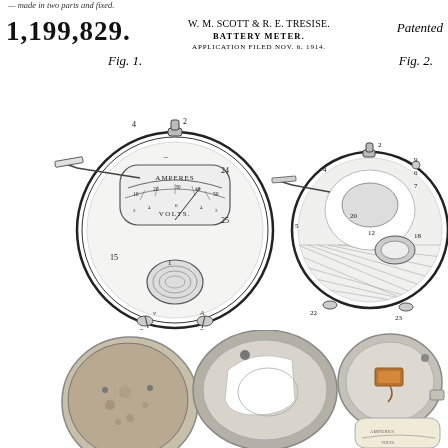1,199,829.
W. M. SCOTT & R. E. TRESISE.
BATTERY METER.
APPLICATION FILED NOV. 6, 1914.
Patented
[Figure (engineering-diagram): Fig. 1: Front view of battery meter device showing circular housing with dial face marked AMPERES and VOLTS, two feet at bottom labeled 3, knob at top labeled 2, terminal at left labeled 4, and reference numbers 1, 15, 24, 25 visible]
[Figure (engineering-diagram): Fig. 2: Cross-section/internal view of battery meter showing circular housing with internal components, numbered parts 2, 3, 4, 5, 6, 7, 9, 11, 12, 18, 20, 22, 23, hatching and shading showing internal mechanism]
[Figure (photo): Photograph of disassembled battery meter components: back cover (left), main circular housing with opening (center), and internal mechanism with copper coil visible (right), plus partial view of dial face in lower right corner]